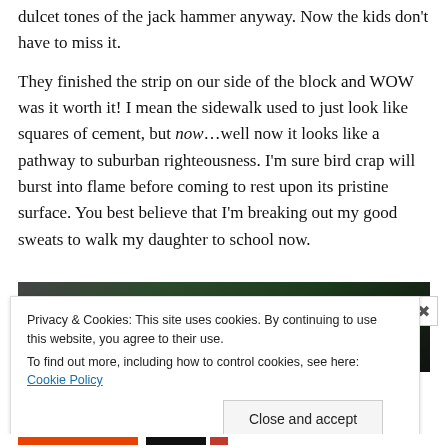dulcet tones of the jack hammer anyway. Now the kids don't have to miss it.
They finished the strip on our side of the block and WOW was it worth it! I mean the sidewalk used to just look like squares of cement, but now…well now it looks like a pathway to suburban righteousness. I'm sure bird crap will burst into flame before coming to rest upon its pristine surface. You best believe that I'm breaking out my good sweats to walk my daughter to school now.
[Figure (photo): Outdoor photo showing green trees against a dark sky]
Privacy & Cookies: This site uses cookies. By continuing to use this website, you agree to their use.
To find out more, including how to control cookies, see here: Cookie Policy
Close and accept